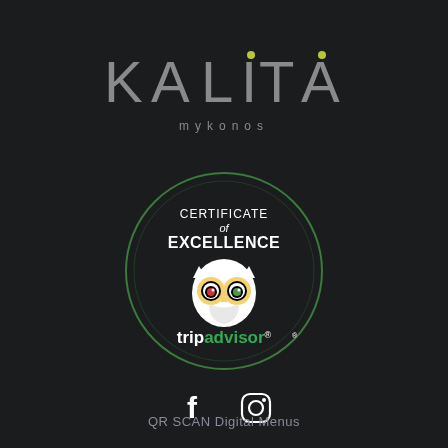[Figure (logo): KALITA mykonos logo in gray stylized letters with yellow-green dots, on dark background]
[Figure (logo): TripAdvisor Certificate of Excellence badge with owl logo inside a green circle, text reads CERTIFICATE of EXCELLENCE and tripadvisor with registered mark]
[Figure (logo): Facebook and Instagram social media icons in white]
QR SCAN Digital Menus